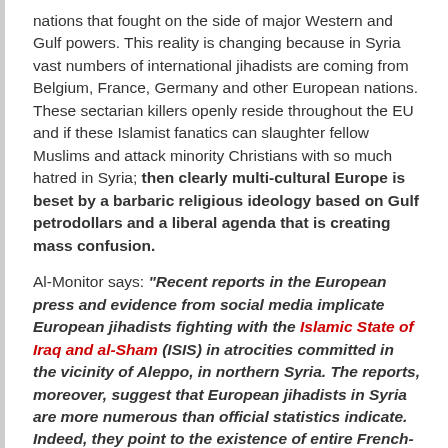nations that fought on the side of major Western and Gulf powers. This reality is changing because in Syria vast numbers of international jihadists are coming from Belgium, France, Germany and other European nations. These sectarian killers openly reside throughout the EU and if these Islamist fanatics can slaughter fellow Muslims and attack minority Christians with so much hatred in Syria; then clearly multi-cultural Europe is beset by a barbaric religious ideology based on Gulf petrodollars and a liberal agenda that is creating mass confusion.
Al-Monitor says: "Recent reports in the European press and evidence from social media implicate European jihadists fighting with the Islamic State of Iraq and al-Sham (ISIS) in atrocities committed in the vicinity of Aleppo, in northern Syria. The reports, moreover, suggest that European jihadists in Syria are more numerous than official statistics indicate. Indeed, they point to the existence of entire French-speaking and German-speaking brigades in the Aleppo region."
International jihadists entering Syria from Europe are